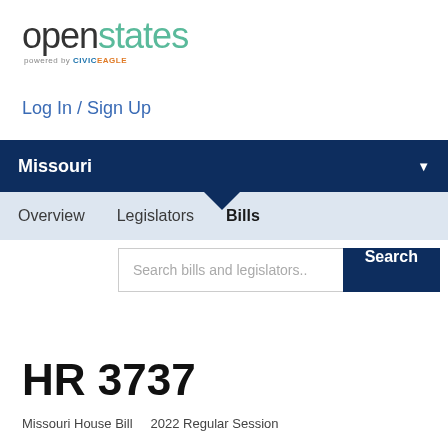[Figure (logo): OpenStates logo - 'openstates' wordmark in gray/teal with 'powered by CIVIC EAGLE' tagline below]
Log In / Sign Up
Missouri
Overview  Legislators  Bills
Search bills and legislators..  Search
HR 3737
Missouri House Bill  2022 Regular Session